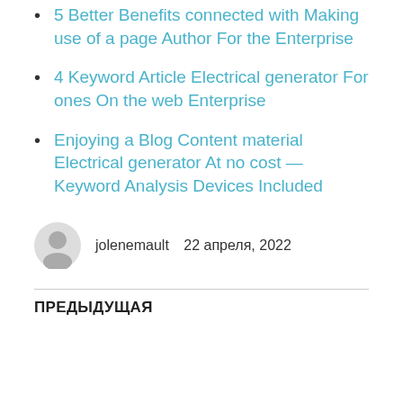5 Better Benefits connected with Making use of a page Author For the Enterprise
4 Keyword Article Electrical generator For ones On the web Enterprise
Enjoying a Blog Content material Electrical generator At no cost — Keyword Analysis Devices Included
jolenemault    22 апреля, 2022
ПРЕДЫДУЩАЯ